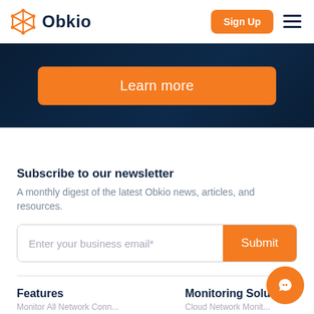Obkio
[Figure (screenshot): Obkio website screenshot showing header with logo, Sign Up button and hamburger menu]
Learn more
Subscribe to our newsletter
A monthly digest of the latest Obkio news, articles, and resources.
Enter your business email*
Submit
Features
Monitoring Solutions